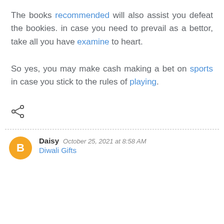The books recommended will also assist you defeat the bookies. in case you need to prevail as a bettor, take all you have examine to heart.
So yes, you may make cash making a bet on sports in case you stick to the rules of playing.
[Figure (other): Share icon (less-than symbol style social share icon)]
Daisy  October 25, 2021 at 8:58 AM
Diwali Gifts